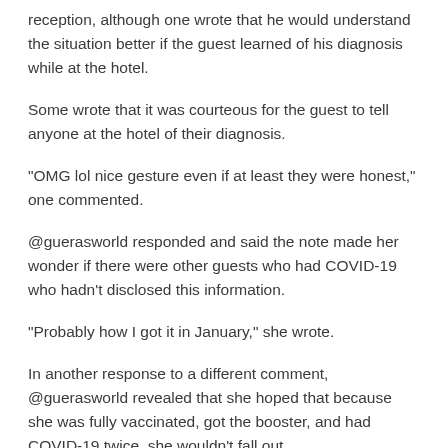reception, although one wrote that he would understand the situation better if the guest learned of his diagnosis while at the hotel.
Some wrote that it was courteous for the guest to tell anyone at the hotel of their diagnosis.
“OMG lol nice gesture even if at least they were honest,” one commented.
@guerasworld responded and said the note made her wonder if there were other guests who had COVID-19 who hadn’t disclosed this information.
“Probably how I got it in January,” she wrote.
In another response to a different comment, @guerasworld revealed that she hoped that because she was fully vaccinated, got the booster, and had COVID-19 twice, she wouldn’t fall out.